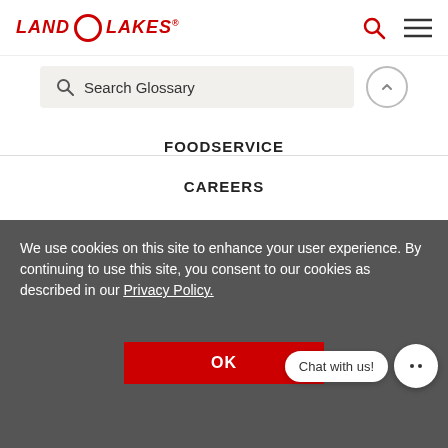LAND O LAKES
Search Glossary
FOODSERVICE
CAREERS
We use cookies on this site to enhance your user experience. By continuing to use this site, you consent to our cookies as described in our Privacy Policy.
LAND O' LAKES, INC.
© 2022 Land O' Lakes, Inc.
Legal | Privacy
OK
DO NOT SELL MY PERSONAL INFORMATION
Chat with us!